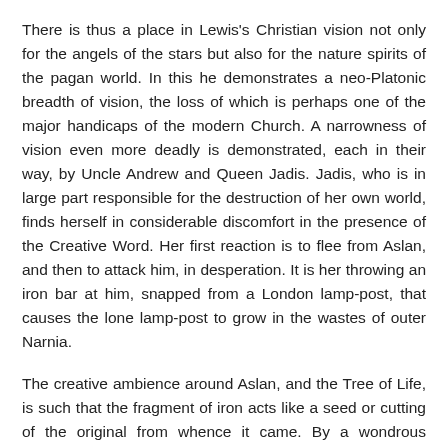There is thus a place in Lewis's Christian vision not only for the angels of the stars but also for the nature spirits of the pagan world. In this he demonstrates a neo-Platonic breadth of vision, the loss of which is perhaps one of the major handicaps of the modern Church. A narrowness of vision even more deadly is demonstrated, each in their way, by Uncle Andrew and Queen Jadis. Jadis, who is in large part responsible for the destruction of her own world, finds herself in considerable discomfort in the presence of the Creative Word. Her first reaction is to flee from Aslan, and then to attack him, in desperation. It is her throwing an iron bar at him, snapped from a London lamp-post, that causes the lone lamp-post to grow in the wastes of outer Narnia.
The creative ambience around Aslan, and the Tree of Life, is such that the fragment of iron acts like a seed or cutting of the original from whence it came. By a wondrous predestination, which has all the hallmarks of a higher magic, it forms an ever burning light, that subsequently guides Lucy and the children when their redemptive intervention is later required against the powers of Jadis in a later Narnian epoch.